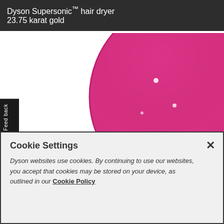Dyson Supersonic™ hair dryer
23.75 karat gold
[Figure (photo): Close-up photo of the Dyson Supersonic hair dryer in fuchsia/magenta pink color with chrome detail button, partially cropped showing circular dryer head against white background]
3 precise speed settings
High – for fast drying and styling
Cookie Settings
Dyson websites use cookies. By continuing to use our websites, you accept that cookies may be stored on your device, as outlined in our Cookie Policy